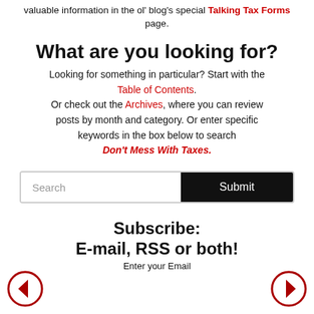valuable information in the ol' blog's special Talking Tax Forms page.
What are you looking for?
Looking for something in particular? Start with the Table of Contents. Or check out the Archives, where you can review posts by month and category. Or enter specific keywords in the box below to search Don't Mess With Taxes.
Search | Submit
Subscribe: E-mail, RSS or both!
Enter your Email